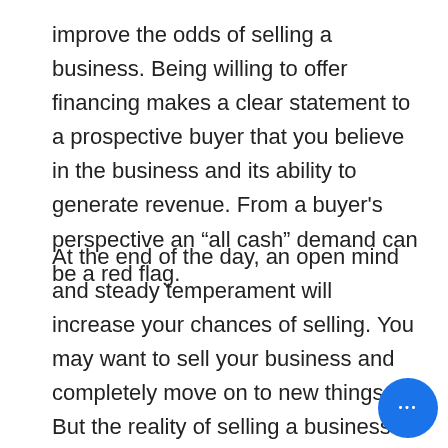improve the odds of selling a business. Being willing to offer financing makes a clear statement to a prospective buyer that you believe in the business and its ability to generate revenue. From a buyer's perspective an “all cash” demand can be a red flag.
At the end of the day, an open mind and steady temperament will increase your chances of selling. You may want to sell your business and completely move on to new things. But the reality of selling a business is such that “walking away” may not be feasible. Transitioning your business into the hands of a new owner is usually more of an ongoing process than a “sign on the dotted li